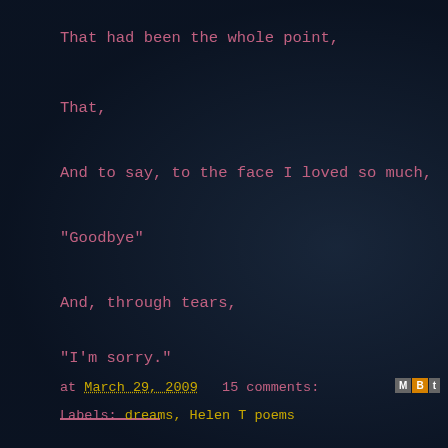That had been the whole point,
That,
And to say, to the face I loved so much,
"Goodbye"
And, through tears,
"I'm sorry."
at March 29, 2009  15 comments:
Labels: dreams, Helen T poems